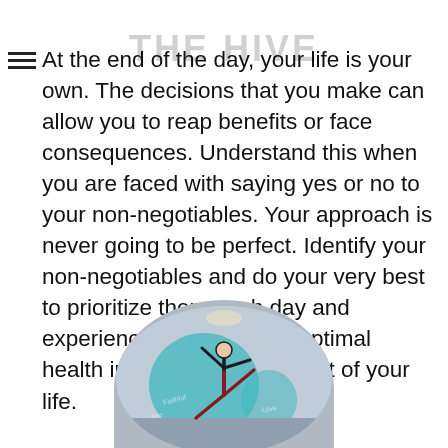[Figure (logo): THE HIVE watermark/logo overlaid on text]
At the end of the day, your life is your own. The decisions that you make can allow you to reap benefits or face consequences. Understand this when you are faced with saying yes or no to your non-negotiables. Your approach is never going to be perfect. Identify your non-negotiables and do your very best to prioritize them each day and experience firsthand how optimal health improves every aspect of your life.
[Figure (photo): A circular/oval cropped photo showing a person doing a yoga or dance pose against a teal/blue background with text overlaid]